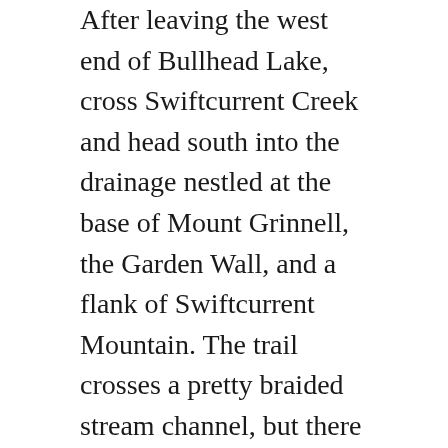After leaving the west end of Bullhead Lake, cross Swiftcurrent Creek and head south into the drainage nestled at the base of Mount Grinnell, the Garden Wall, and a flank of Swiftcurrent Mountain. The trail crosses a pretty braided stream channel, but there is a plank bridge. It's put in place in June and taken out in September. Check Glacier National Park's Trail Status Reports.
In 1910, an official from the Department of the Interior visited the newly established Glacier National Park. He hired Josiah Rogers, an owner of stock and packer on the west side, to take him through the park, including a trip over Swiftcurrent Pass at the end of the journey. Rogers balked at this last request. He